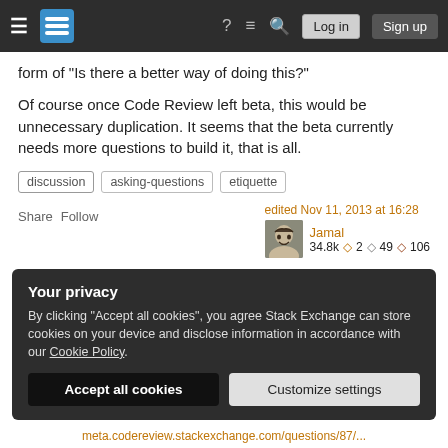Stack Exchange navigation bar with hamburger menu, logo, help, chat, search, Log in and Sign up buttons
form of "Is there a better way of doing this?"
Of course once Code Review left beta, this would be unnecessary duplication. It seems that the beta currently needs more questions to build it, that is all.
discussion
asking-questions
etiquette
Share  Follow
edited Nov 11, 2013 at 16:28
Jamal
34.8k  2  49  106
Your privacy
By clicking "Accept all cookies", you agree Stack Exchange can store cookies on your device and disclose information in accordance with our Cookie Policy.
Accept all cookies   Customize settings
meta.codereview.stackexchange.com/questions/87/...